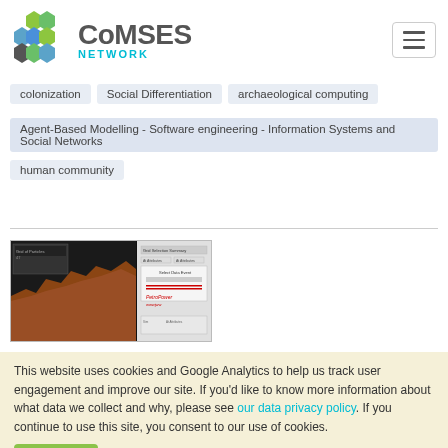[Figure (logo): CoMSES Network logo with hexagonal icon in green, blue, and gray tones]
colonization
Social Differentiation
archaeological computing
Agent-Based Modelling - Software engineering - Information Systems and Social Networks
human community
[Figure (screenshot): Screenshot of a simulation interface showing a rocky terrain on the left and control panel on the right]
This website uses cookies and Google Analytics to help us track user engagement and improve our site. If you'd like to know more information about what data we collect and why, please see our data privacy policy. If you continue to use this site, you consent to our use of cookies.
Accept
Joseph A. E. Shaheen | Published Thu Jan 27 19:16:34 2022